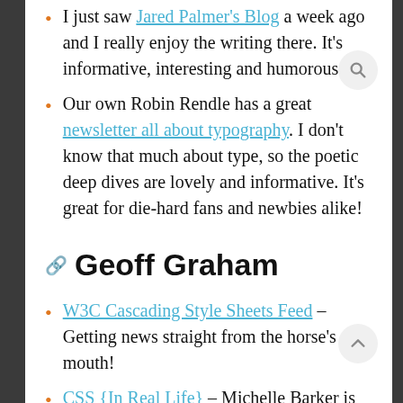I just saw Jared Palmer's Blog a week ago and I really enjoy the writing there. It's informative, interesting and humorous.
Our own Robin Rendle has a great newsletter all about typography. I don't know that much about type, so the poetic deep dives are lovely and informative. It's great for die-hard fans and newbies alike!
Geoff Graham
W3C Cascading Style Sheets Feed – Getting news straight from the horse's mouth!
CSS {In Real Life} – Michelle Barker is has a